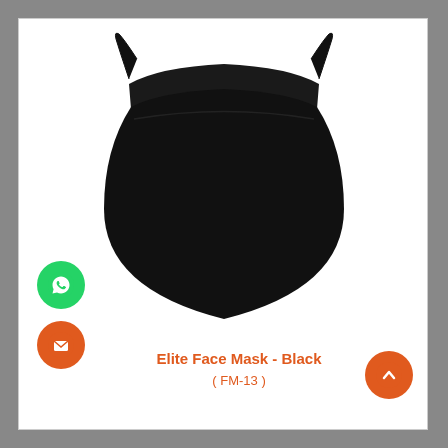[Figure (illustration): Black face mask (Elite Face Mask - Black, FM-13) silhouette with ear loops, shown from front. White background product image.]
Elite Face Mask - Black
( FM-13 )
[Figure (logo): Green circular WhatsApp button with white phone/chat icon]
[Figure (logo): Orange circular email button with white envelope icon]
[Figure (logo): Orange circular scroll-to-top button with white upward chevron]